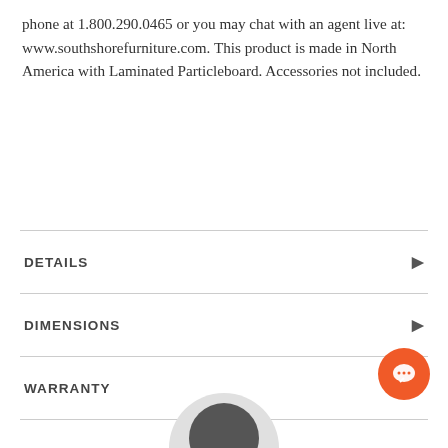phone at 1.800.290.0465 or you may chat with an agent live at: www.southshorefurniture.com. This product is made in North America with Laminated Particleboard. Accessories not included.
DETAILS
DIMENSIONS
WARRANTY
[Figure (illustration): Orange circular chat button with speech bubble icon (bottom right), and partial avatar/person image at bottom center]